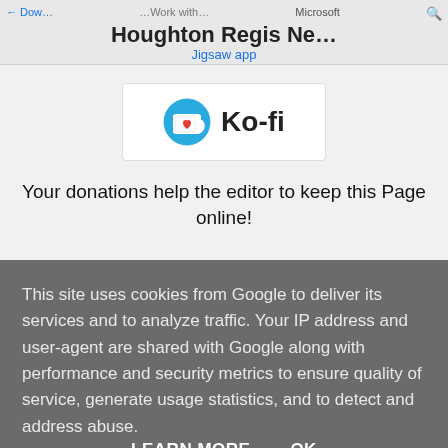← Download Microsoft Work with Microsoft Jigsaw app
Houghton Regis Ne...
[Figure (logo): Ko-fi logo: blue circle with a white coffee cup with a red heart, next to the text Ko-fi in bold]
Your donations help the editor to keep this Page online!
This site uses cookies from Google to deliver its services and to analyze traffic. Your IP address and user-agent are shared with Google along with performance and security metrics to ensure quality of service, generate usage statistics, and to detect and address abuse.
LEARN MORE   OK